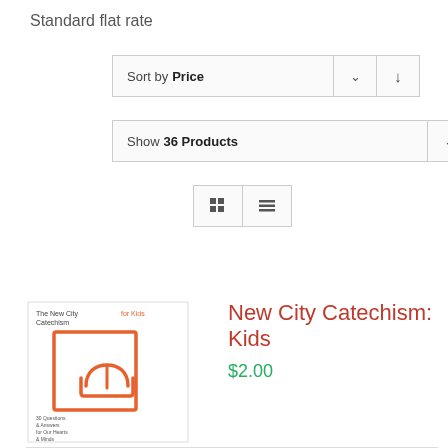Standard flat rate
Sort by Price
Show 36 Products
[Figure (screenshot): Book cover thumbnail for New City Catechism: Kids — small book with orange frame and heart/book logo]
New City Catechism: Kids
$2.00